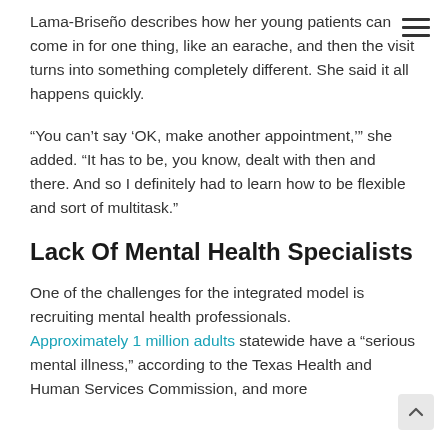Lama-Briseño describes how her young patients can come in for one thing, like an earache, and then the visit turns into something completely different. She said it all happens quickly.
“You can’t say ‘OK, make another appointment,’” she added. “It has to be, you know, dealt with then and there. And so I definitely had to learn how to be flexible and sort of multitask.”
Lack Of Mental Health Specialists
One of the challenges for the integrated model is recruiting mental health professionals. Approximately 1 million adults statewide have a “serious mental illness,” according to the Texas Health and Human Services Commission, and more than 80 percent of Texas’ 37 largest cities lack a mental health